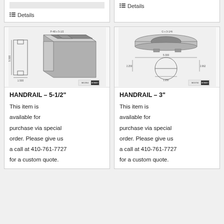[Figure (engineering-diagram): Top partial card left with details link]
Details
[Figure (engineering-diagram): Top partial card right with details link]
Details
[Figure (engineering-diagram): Technical drawing of Handrail 5-1/2 inch cross section profile]
HANDRAIL – 5-1/2"
This item is available for purchase via special order. Please give us a call at 410-761-7727 for a custom quote.
[Figure (engineering-diagram): Technical drawing of Handrail 3 inch cross section profile]
HANDRAIL – 3"
This item is available for purchase via special order. Please give us a call at 410-761-7727 for a custom quote.